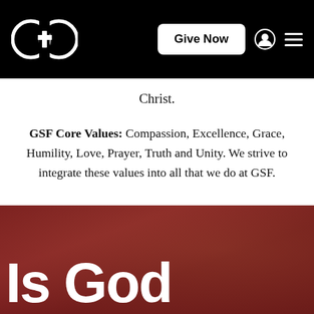[Figure (logo): GSF church logo: two overlapping circles forming a GO shape with a cross in the center, white on black background]
Christ.
GSF Core Values: Compassion, Excellence, Grace, Humility, Love, Prayer, Truth and Unity. We strive to integrate these values into all that we do at GSF.
[Figure (photo): Dark red background banner with blurred decorative imagery, displaying the beginning text 'Is God' in large white bold font]